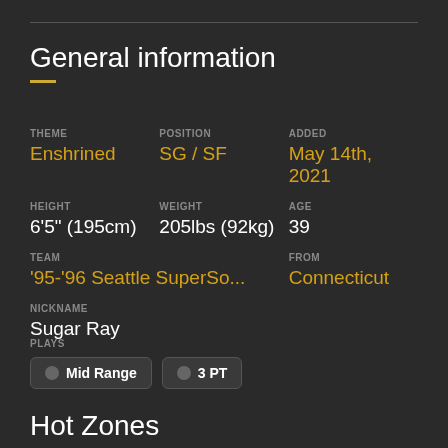General information
| THEME | POSITION | ADDED |
| --- | --- | --- |
| Enshrined | SG / SF | May 14th, 2021 |
| HEIGHT | WEIGHT | AGE |
| --- | --- | --- |
| 6'5" (195cm) | 205lbs (92kg) | 39 |
| TEAM | FROM |
| --- | --- |
| '95-'96 Seattle SuperSo... | Connecticut |
| NICKNAME |
| --- |
| Sugar Ray |
PLAYS
Mid Range
3 PT
Hot Zones